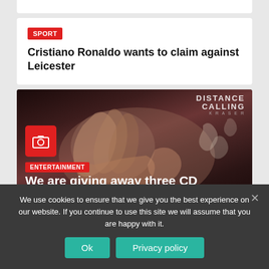SPORT
Cristiano Ronaldo wants to claim against Leicester
[Figure (photo): Dark moody entertainment image showing a hand/figure with 'DISTANCE CALLING KRASER' text in top right, a red camera icon box overlay, ENTERTAINMENT tag, and partial headline 'We are giving away three CD media books from Long']
We use cookies to ensure that we give you the best experience on our website. If you continue to use this site we will assume that you are happy with it.
Ok
Privacy policy